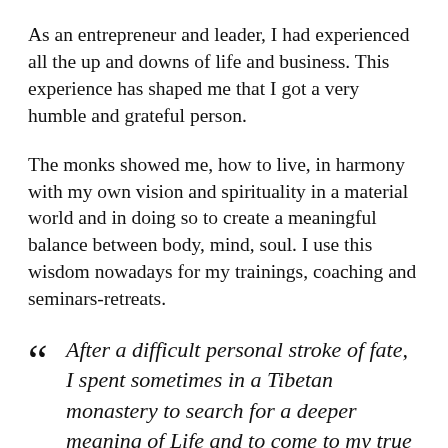As an entrepreneur and leader, I had experienced all the up and downs of life and business. This experience has shaped me that I got a very humble and grateful person.
The monks showed me, how to live, in harmony with my own vision and spirituality in a material world and in doing so to create a meaningful balance between body, mind, soul. I use this wisdom nowadays for my trainings, coaching and seminars-retreats.
“ After a difficult personal stroke of fate, I spent sometimes in a Tibetan monastery to search for a deeper meaning of Life and to come to my true inner potential of my roots. I was